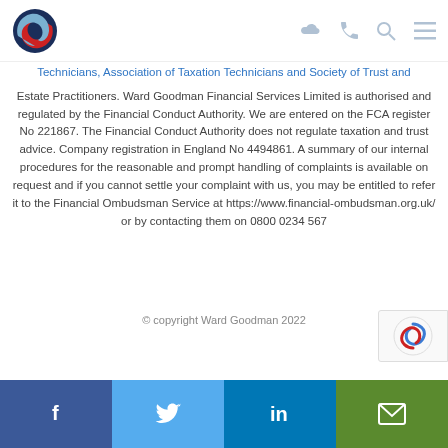Ward Goodman logo and navigation icons
Technicians, Association of Taxation Technicians and Society of Trust and Estate Practitioners. Ward Goodman Financial Services Limited is authorised and regulated by the Financial Conduct Authority. We are entered on the FCA register No 221867. The Financial Conduct Authority does not regulate taxation and trust advice. Company registration in England No 4494861. A summary of our internal procedures for the reasonable and prompt handling of complaints is available on request and if you cannot settle your complaint with us, you may be entitled to refer it to the Financial Ombudsman Service at https://www.financial-ombudsman.org.uk/ or by contacting them on 0800 0234 567
© copyright Ward Goodman 2022
Facebook Twitter LinkedIn Email social links